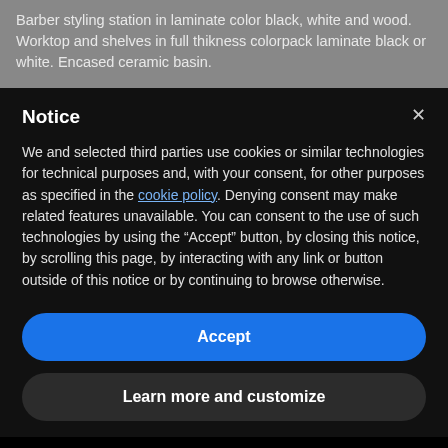Barber styling station in laminate color black, white and wood. Worktop and shelves in full thikness colorpack laminate black or white. Encased ceramic basin.
Notice
We and selected third parties use cookies or similar technologies for technical purposes and, with your consent, for other purposes as specified in the cookie policy. Denying consent may make related features unavailable. You can consent to the use of such technologies by using the "Accept" button, by closing this notice, by scrolling this page, by interacting with any link or button outside of this notice or by continuing to browse otherwise.